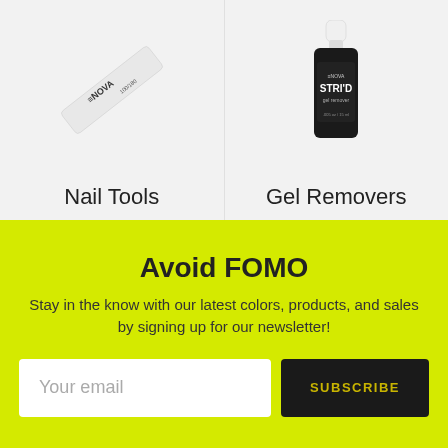[Figure (photo): White nail file/buffer with ENOVA branding and 100/180 grit marking, shown at an angle on a light gray background]
Nail Tools
[Figure (photo): Black bottle of ENOVA STRIPD gel remover with white cap, shown on a light gray background]
Gel Removers
Avoid FOMO
Stay in the know with our latest colors, products, and sales by signing up for our newsletter!
Your email
SUBSCRIBE